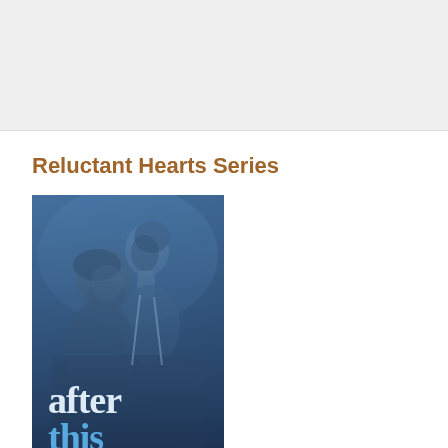Reluctant Hearts Series
[Figure (photo): Book cover for 'After This' — a romantic novel showing a couple in an intimate moment against a blue-tinted background, with the title text 'after this' displayed at the bottom of the cover image.]